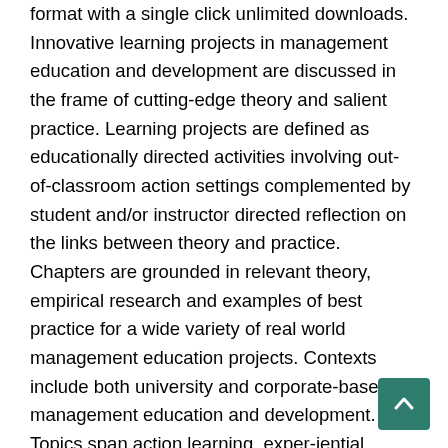format with a single click unlimited downloads. Innovative learning projects in management education and development are discussed in the frame of cutting-edge theory and salient practice. Learning projects are defined as educationally directed activities involving out-of-classroom action settings complemented by student and/or instructor directed reflection on the links between theory and practice. Chapters are grounded in relevant theory, empirical research and examples of best practice for a wide variety of real world management education projects. Contexts include both university and corporate-based management education and development. Topics span action learning, exper-iential learning, student consulting projects, service learning, reflective practice, internships as learning vehicles, and web-based learning through projects. Extensive opportunities are being recognized for essential theory and practice interactions through anchored and